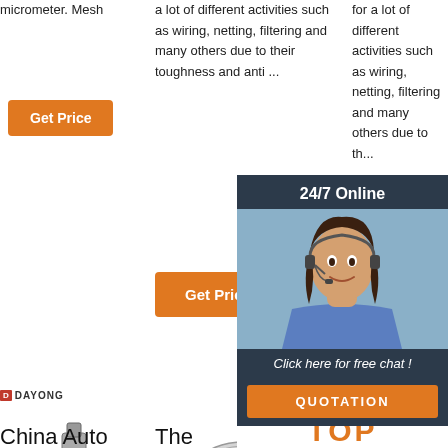micrometer. Mesh
a lot of different activities such as wiring, netting, filtering and many others due to their toughness and anti ...
for a lot of different activities such as wiring, netting, filtering and many others due to th ...
[Figure (other): Orange 'Get Price' button - column 1]
[Figure (other): Orange 'Get Price' button - column 2]
[Figure (other): Partially visible orange 'G...' button - column 3]
[Figure (other): Dayong logo and industrial vibrating sieve machine photo - column 1]
[Figure (other): Industrial mixing/sieving machine photo - column 2]
[Figure (other): DA... logo and partially visible machine - column 3]
[Figure (other): 24/7 Online chat popup overlay with customer service representative photo, 'Click here for free chat!' text, QUOTATION button, and TOP badge]
China Auto
The
Zhejiang